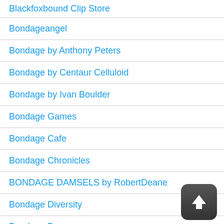Blackfoxbound Clip Store
Bondageangel
Bondage by Anthony Peters
Bondage by Centaur Celluloid
Bondage by Ivan Boulder
Bondage Games
Bondage Cafe
Bondage Chronicles
BONDAGE DAMSELS by RobertDeane
Bondage Diversity
Bondage Dreams
BondageDownSouth